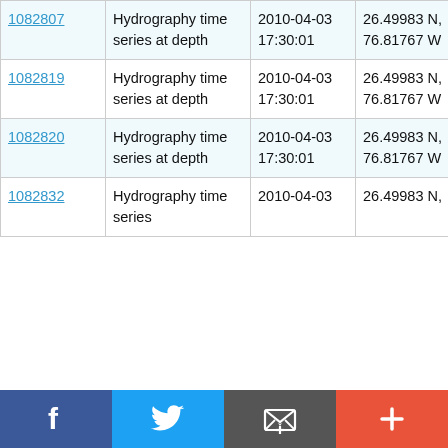| 1082807 | Hydrography time series at depth | 2010-04-03 17:30:01 | 26.49983 N, 76.81767 W | RV Oceanus OC459-1 |
| 1082819 | Hydrography time series at depth | 2010-04-03 17:30:01 | 26.49983 N, 76.81767 W | RV Oceanus OC459-1 |
| 1082820 | Hydrography time series at depth | 2010-04-03 17:30:01 | 26.49983 N, 76.81767 W | RV Oceanus OC459-1 |
| 1082832 | Hydrography time series | 2010-04-03 | 26.49983 N, | RV Oceanus |